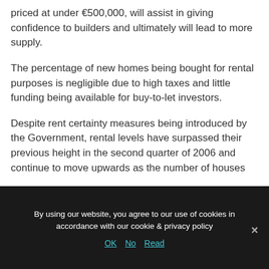priced at under €500,000, will assist in giving confidence to builders and ultimately will lead to more supply.
The percentage of new homes being bought for rental purposes is negligible due to high taxes and little funding being available for buy-to-let investors.
Despite rent certainty measures being introduced by the Government, rental levels have surpassed their previous height in the second quarter of 2006 and continue to move upwards as the number of houses
By using our website, you agree to our use of cookies in accordance with our cookie & privacy policy
OK  No  Read